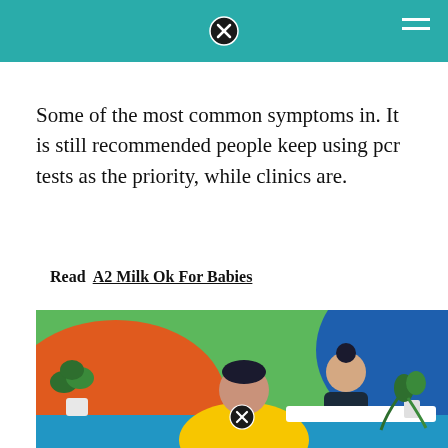Some of the most common symptoms in. It is still recommended people keep using pcr tests as the priority, while clinics are.
Read  A2 Milk Ok For Babies
[Figure (illustration): Colorful flat illustration showing two people at a reception or clinic desk. One person wearing a yellow hoodie faces away from the viewer. A second person with a hair bun sits behind a white counter. Background features green, orange, and blue abstract shapes with tropical plants.]